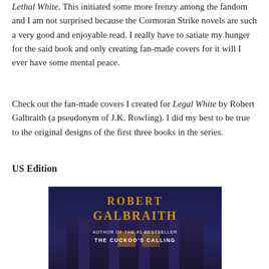Lethal White. This initiated some more frenzy among the fandom and I am not surprised because the Cormoran Strike novels are such a very good and enjoyable read. I really have to satiate my hunger for the said book and only creating fan-made covers for it will I ever have some mental peace.
Check out the fan-made covers I created for Legal White by Robert Galbraith (a pseudonym of J.K. Rowling). I did my best to be true to the original designs of the first three books in the series.
US Edition
[Figure (illustration): Fan-made book cover for 'Legal White' by Robert Galbraith. Dark blue/purple background showing a building facade. Gold text reads 'ROBERT GALBRAITH' at top, white subtitle text 'AUTHOR OF THE #1 BESTSELLER THE CUCKOO'S CALLING' below.]